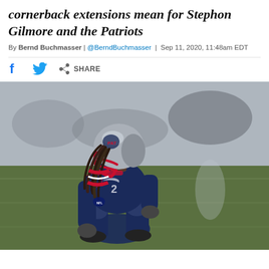cornerback extensions mean for Stephon Gilmore and the Patriots
By Bernd Buchmasser | @BerndBuchmasser | Sep 11, 2020, 11:48am EDT
[Figure (photo): Stephon Gilmore #24 of the New England Patriots in a crouched defensive stance on the field, wearing navy blue uniform with red face mask and silver helmet with Patriots logo]